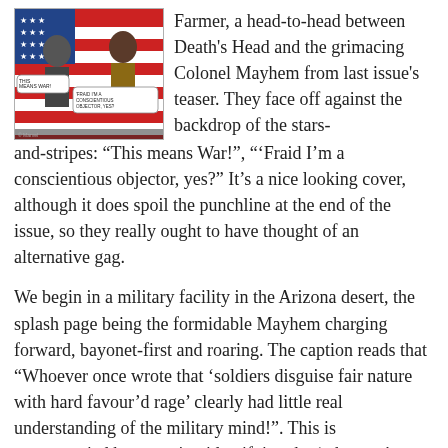[Figure (illustration): Comic book cover panel showing two characters facing off against a stars-and-stripes background. One character has a speech bubble saying 'THIS MEANS WAR!' and another says 'FRAID I'M A CONSCIENTIOUS OBJECTOR, YES?']
Farmer, a head-to-head between Death's Head and the grimacing Colonel Mayhem from last issue's teaser. They face off against the backdrop of the stars-and-stripes: “This means War!”, “'Fraid I'm a conscientious objector, yes?” It’s a nice looking cover, although it does spoil the punchline at the end of the issue, so they really ought to have thought of an alternative gag.
We begin in a military facility in the Arizona desert, the splash page being the formidable Mayhem charging forward, bayonet-first and roaring. The caption reads that “Whoever once wrote that ‘soldiers disguise fair nature with hard favour’d rage’ clearly had little real understanding of the military mind!”. This is accompanied by a caption identifying the ‘whoever’ as Shakespeare and calling the writer a philistine. It may just have been Furman shooting down his own statement, but I’d like to think was Furman and Starkings having some fun here.